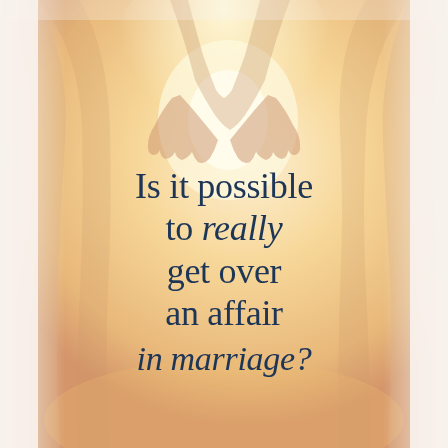[Figure (photo): Two people holding hands, backlit by warm golden sunlight, with soft white fabric/clothing on the sides. The image has a warm, hazy, romantic tone with white vertical panels on the left and right edges.]
Is it possible to really get over an affair in marriage?